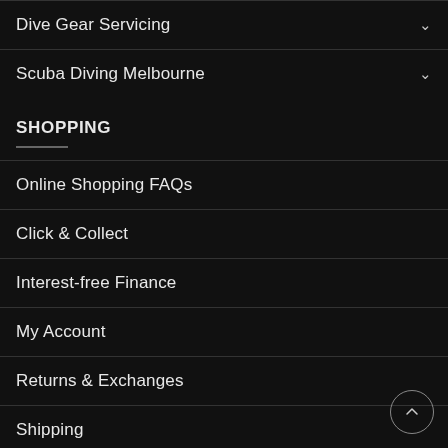Dive Gear Servicing
Scuba Diving Melbourne
SHOPPING
Online Shopping FAQs
Click & Collect
Interest-free Finance
My Account
Returns & Exchanges
Shipping
Testimonials